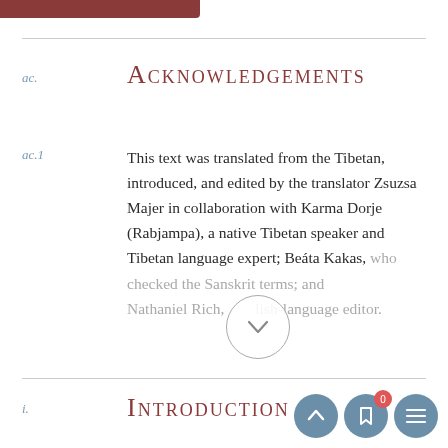ACKNOWLEDGEMENTS
This text was translated from the Tibetan, introduced, and edited by the translator Zsuzsa Majer in collaboration with Karma Dorje (Rabjampa), a native Tibetan speaker and Tibetan language expert; Beáta Kakas, who checked the Sanskrit terms; and Nathaniel Rich, the English-language editor.
INTRODUCTION